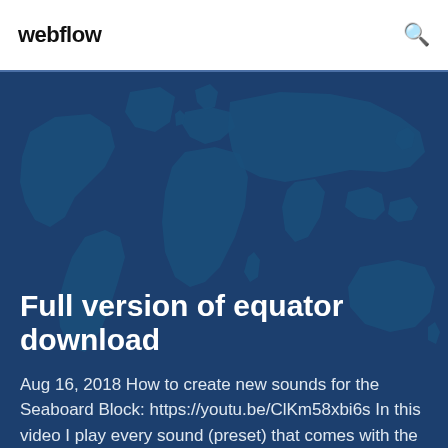webflow
[Figure (illustration): World map silhouette illustration in dark teal/blue tones used as a hero background image]
Full version of equator download
Aug 16, 2018 How to create new sounds for the Seaboard Block: https://youtu.be/ClKm58xbi6s In this video I play every sound (preset) that comes with the